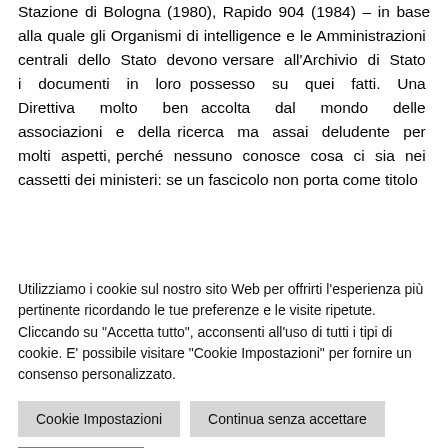Stazione di Bologna (1980), Rapido 904 (1984) – in base alla quale gli Organismi di intelligence e le Amministrazioni centrali dello Stato devono versare all'Archivio di Stato i documenti in loro possesso su quei fatti. Una Direttiva molto ben accolta dal mondo delle associazioni e della ricerca ma assai deludente per molti aspetti, perché nessuno conosce cosa ci sia nei cassetti dei ministeri: se un fascicolo non porta come titolo
Utilizziamo i cookie sul nostro sito Web per offrirti l'esperienza più pertinente ricordando le tue preferenze e le visite ripetute. Cliccando su "Accetta tutto", acconsenti all'uso di tutti i tipi di cookie. E' possibile visitare "Cookie Impostazioni" per fornire un consenso personalizzato.
Cookie Impostazioni | Continua senza accettare
Accetta tutti